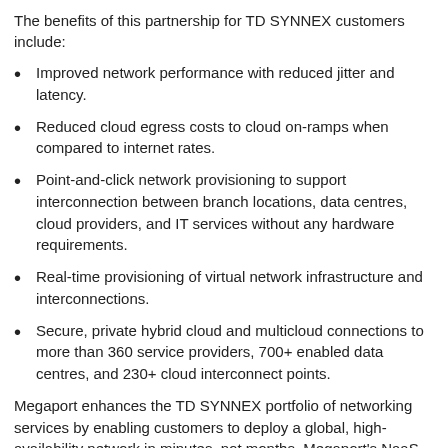The benefits of this partnership for TD SYNNEX customers include:
Improved network performance with reduced jitter and latency.
Reduced cloud egress costs to cloud on-ramps when compared to internet rates.
Point-and-click network provisioning to support interconnection between branch locations, data centres, cloud providers, and IT services without any hardware requirements.
Real-time provisioning of virtual network infrastructure and interconnections.
Secure, private hybrid cloud and multicloud connections to more than 360 service providers, 700+ enabled data centres, and 230+ cloud interconnect points.
Megaport enhances the TD SYNNEX portfolio of networking services by enabling customers to deploy a global, high-availability network in minutes, not months. Megaport's NaaS platform provides private,